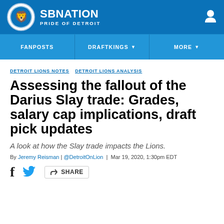SB NATION / PRIDE OF DETROIT
FANPOSTS | DRAFTKINGS | MORE
DETROIT LIONS NOTES  DETROIT LIONS ANALYSIS
Assessing the fallout of the Darius Slay trade: Grades, salary cap implications, draft pick updates
A look at how the Slay trade impacts the Lions.
By Jeremy Reisman | @DetroitOnLion | Mar 19, 2020, 1:30pm EDT
SHARE